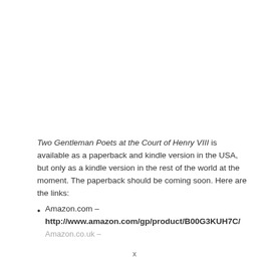Two Gentleman Poets at the Court of Henry VIII is available as a paperback and kindle version in the USA, but only as a kindle version in the rest of the world at the moment. The paperback should be coming soon. Here are the links:
Amazon.com – http://www.amazon.com/gp/product/B00G3KUH7C/
Amazon.co.uk –
x